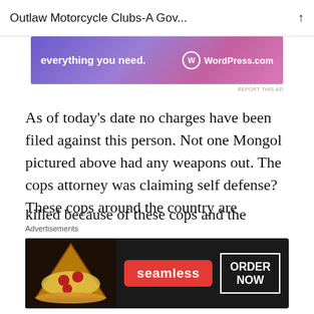Outlaw Motorcycle Clubs-A Gov...
[Figure (screenshot): WordPress.com advertisement banner with gradient purple-pink background reading 'everything you need.' with WordPress.com logo]
As of today's date no charges have been filed against this person. Not one Mongol pictured above had any weapons out. The cops attorney was claiming self defense? These cops around the country are wondering why the citizens are starting to turn on them. It's not only in the biker world stuff like this is happening. How many people have been killed because of these cops and the god like
[Figure (screenshot): Seamless food delivery advertisement with pizza image, red seamless badge, and ORDER NOW button on dark background]